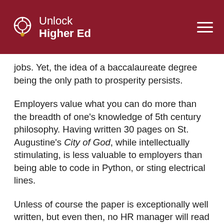Unlock Higher Ed
jobs. Yet, the idea of a baccalaureate degree being the only path to prosperity persists.
Employers value what you can do more than the breadth of one's knowledge of 5th century philosophy. Having written 30 pages on St. Augustine's City of God, while intellectually stimulating, is less valuable to employers than being able to code in Python, or sting electrical lines.
Unless of course the paper is exceptionally well written, but even then, no HR manager will read it, ever. Students perceive spending a semester studying philosophy as a waste of time. Doing so